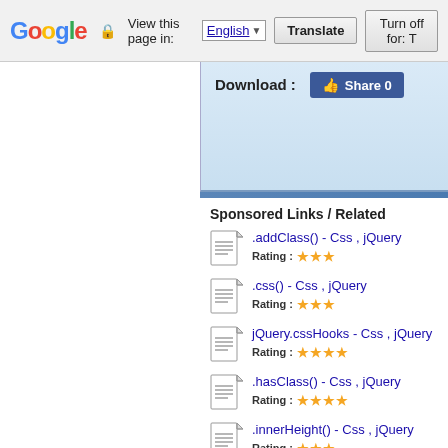Google  View this page in: English [▼]  Translate  Turn off for: T
Download :  Share 0
Sponsored Links / Related
.addClass() - Css , jQuery  Rating : ★★★
.css() - Css , jQuery  Rating : ★★★
jQuery.cssHooks - Css , jQuery  Rating : ★★★★
.hasClass() - Css , jQuery  Rating : ★★★★
.innerHeight() - Css , jQuery  Rating : ★★★
.innerWidth() - Css , jQuery  Rating : ★★